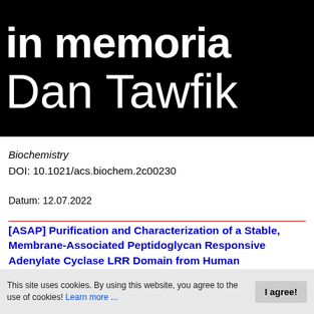[Figure (other): Black banner with white text reading 'in memoria' on first line and 'Dan Tawfik' on second line — memorial image header]
Biochemistry
DOI: 10.1021/acs.biochem.2c00230
Datum: 12.07.2022
[ASAP] Purification and Characterization of a Stable, Membrane-Associated Peptidoglycan Responsive Adenylate Cyclase LRR Domain from Human
This site uses cookies. By using this website, you agree to the use of cookies! Learn more ...